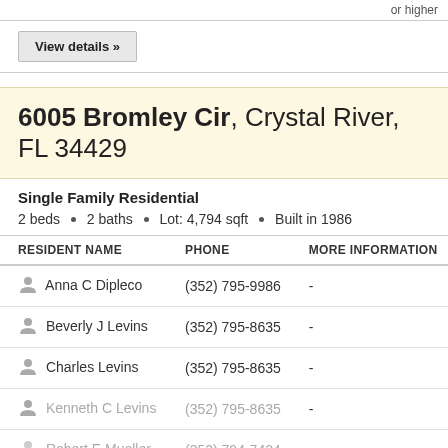or higher
View details »
6005 Bromley Cir, Crystal River, FL 34429
Single Family Residential
2 beds · 2 baths · Lot: 4,794 sqft · Built in 1986
| RESIDENT NAME | PHONE | MORE INFORMATION |
| --- | --- | --- |
| Anna C Dipleco | (352) 795-9986 | - |
| Beverly J Levins | (352) 795-8635 | - |
| Charles Levins | (352) 795-8635 | - |
| Kenneth C Levins | (352) 795-8635 | - |
| Robert E Mueller | (352) 794-7424 |  |